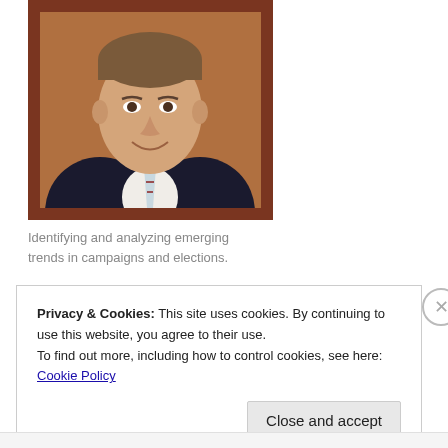[Figure (photo): Professional headshot of a middle-aged man in a dark suit with a striped tie, smiling, set in a brown/rust colored frame]
Identifying and analyzing emerging trends in campaigns and elections.
Privacy & Cookies: This site uses cookies. By continuing to use this website, you agree to their use.
To find out more, including how to control cookies, see here: Cookie Policy
Close and accept